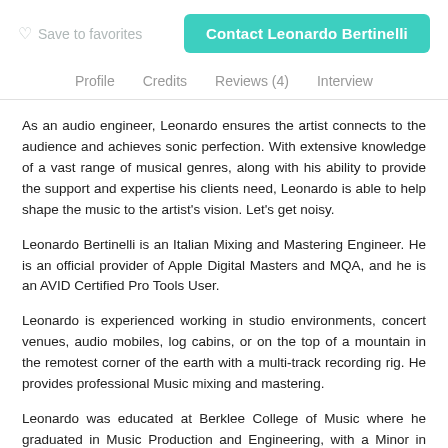Save to favorites   Contact Leonardo Bertinelli
Profile   Credits   Reviews (4)   Interview
As an audio engineer, Leonardo ensures the artist connects to the audience and achieves sonic perfection. With extensive knowledge of a vast range of musical genres, along with his ability to provide the support and expertise his clients need, Leonardo is able to help shape the music to the artist's vision. Let's get noisy.
Leonardo Bertinelli is an Italian Mixing and Mastering Engineer. He is an official provider of Apple Digital Masters and MQA, and he is an AVID Certified Pro Tools User.
Leonardo is experienced working in studio environments, concert venues, audio mobiles, log cabins, or on the top of a mountain in the remotest corner of the earth with a multi-track recording rig. He provides professional Music mixing and mastering.
Leonardo was educated at Berklee College of Music where he graduated in Music Production and Engineering, with a Minor in Acoustics and Electronics, and has mastered his craft working with